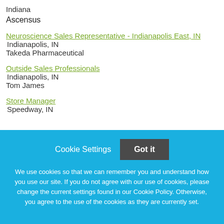Indiana
Ascensus
Neuroscience Sales Representative - Indianapolis East, IN
Indianapolis, IN
Takeda Pharmaceutical
Outside Sales Professionals
Indianapolis, IN
Tom James
Store Manager
Speedway, IN
Cookie Settings
Got it
We use cookies so that we can remember you and understand how you use our site. If you do not agree with our use of cookies, please change the current settings found in our Cookie Policy. Otherwise, you agree to the use of the cookies as they are currently set.